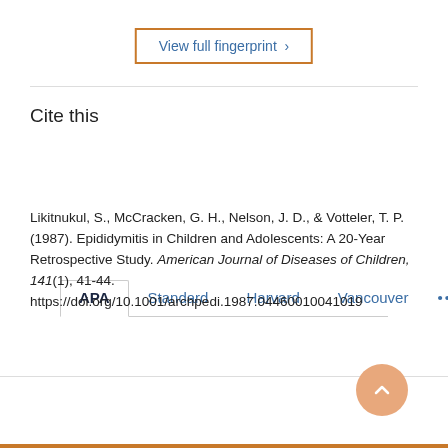View full fingerprint >
Cite this
APA  Standard  Harvard  Vancouver  ...
Likitnukul, S., McCracken, G. H., Nelson, J. D., & Votteler, T. P. (1987). Epididymitis in Children and Adolescents: A 20-Year Retrospective Study. American Journal of Diseases of Children, 141(1), 41-44. https://doi.org/10.1001/archpedi.1987.04460010041019